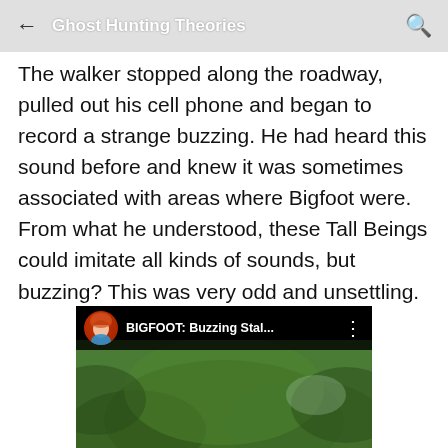Ghost Hunting Theories
The walker stopped along the roadway, pulled out his cell phone and began to record a strange buzzing. He had heard this sound before and knew it was sometimes associated with areas where Bigfoot were. From what he understood, these Tall Beings could imitate all kinds of sounds, but buzzing? This was very odd and unsettling.
[Figure (screenshot): YouTube video thumbnail showing 'BIGFOOT: Buzzing Stal...' with a red-haired woman's avatar and green foliage background]